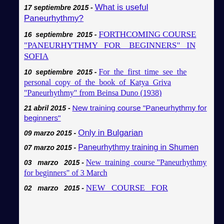17 septiembre 2015 - What is useful Paneurhythmy?
16 septiembre 2015 - FORTHCOMING COURSE "PANEURHYTHMY FOR BEGINNERS" IN SOFIA
10 septiembre 2015 - For the first time see the personal copy of the book of Katya Griva "Paneurhythmy" from Beinsa Duno (1938)
21 abril 2015 - New training course "Paneurhythmy for beginners"
09 marzo 2015 - Only in Bulgarian
07 marzo 2015 - Paneurhythmy training in Shumen
03 marzo 2015 - New training course "Paneurhythmy for beginners" of 3 March
02 marzo 2015 - NEW COURSE FOR